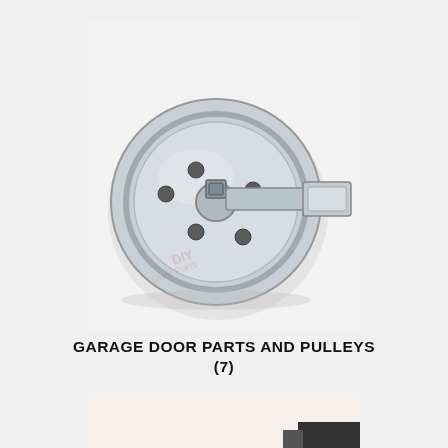[Figure (photo): A metal garage door pulley wheel with a bracket/strap attached, viewed from the front. The round steel pulley has a grooved rim and several holes on its face, with a central bolt and nut. A flat metal mounting bracket extends to the right.]
GARAGE DOOR PARTS AND PULLEYS (7)
[Figure (photo): Partial view of another garage door part, cropped at the bottom of the page.]